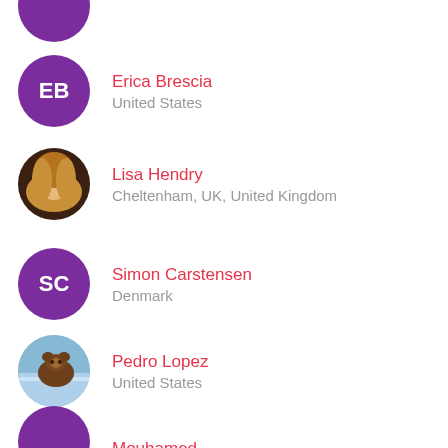Erica Brescia, United States
Lisa Hendry, Cheltenham, UK, United Kingdom
Simon Carstensen, Denmark
Pedro Lopez, United States
Mouhamed, United States